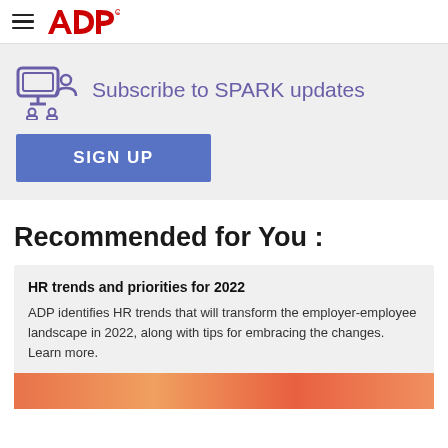ADP SPARK - hamburger menu and ADP logo
[Figure (infographic): Subscribe to SPARK updates banner with person/device icon, text, and SIGN UP button]
Recommended for You :
HR trends and priorities for 2022
ADP identifies HR trends that will transform the employer-employee landscape in 2022, along with tips for embracing the changes. Learn more.
[Figure (photo): Orange colored image strip at bottom of card]